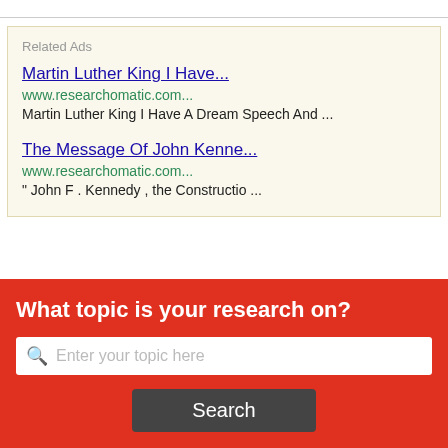Related Ads
Martin Luther King I Have...
www.researchomatic.com...
Martin Luther King I Have A Dream Speech And ...
The Message Of John Kenne...
www.researchomatic.com...
" John F . Kennedy , the Constructio ...
What topic is your research on?
Enter your topic here
Search